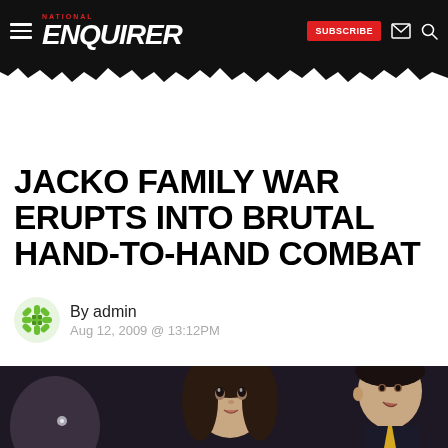NATIONAL ENQUIRER — SUBSCRIBE
JACKO FAMILY WAR ERUPTS INTO BRUTAL HAND-TO-HAND COMBAT
By admin
Aug 12, 2009 @ 13:12PM
[Figure (photo): Photo of two children at a formal event, one girl looking up and one boy in a suit with yellow tie, both appear to be Michael Jackson's children at a memorial or event]